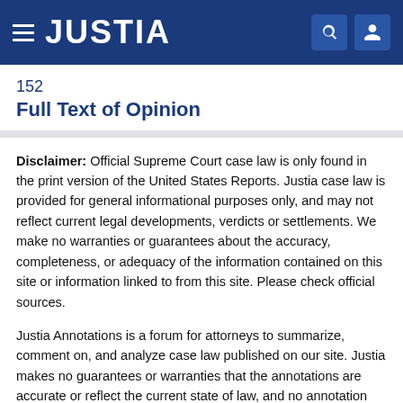JUSTIA
152
Full Text of Opinion
Disclaimer: Official Supreme Court case law is only found in the print version of the United States Reports. Justia case law is provided for general informational purposes only, and may not reflect current legal developments, verdicts or settlements. We make no warranties or guarantees about the accuracy, completeness, or adequacy of the information contained on this site or information linked to from this site. Please check official sources.
Justia Annotations is a forum for attorneys to summarize, comment on, and analyze case law published on our site. Justia makes no guarantees or warranties that the annotations are accurate or reflect the current state of law, and no annotation